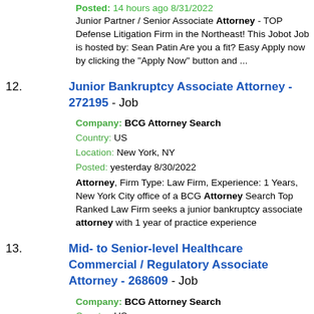Posted: 14 hours ago 8/31/2022
Junior Partner / Senior Associate Attorney - TOP Defense Litigation Firm in the Northeast! This Jobot Job is hosted by: Sean Patin Are you a fit? Easy Apply now by clicking the "Apply Now" button and ...
12. Junior Bankruptcy Associate Attorney - 272195 - Job
Company: BCG Attorney Search
Country: US
Location: New York, NY
Posted: yesterday 8/30/2022
Attorney, Firm Type: Law Firm, Experience: 1 Years, New York City office of a BCG Attorney Search Top Ranked Law Firm seeks a junior bankruptcy associate attorney with 1 year of practice experience
13. Mid- to Senior-level Healthcare Commercial / Regulatory Associate Attorney - 268609 - Job
Company: BCG Attorney Search
Country: US
Location: New York, NY
Posted: yesterday 8/30/2022
Attorney, Firm Type: Law Firm, Experience: 3 Years, New York City office of a BCG Attorney Search Top Ranked Law Firm